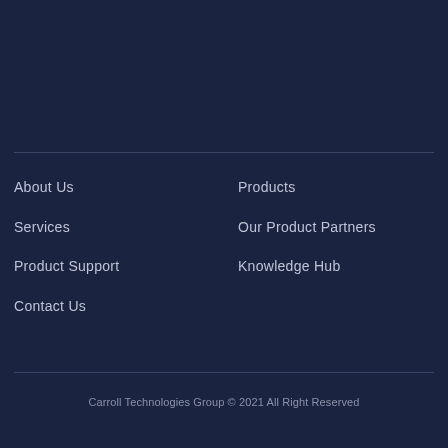About Us
Services
Product Support
Contact Us
Products
Our Product Partners
Knowledge Hub
Carroll Technologies Group © 2021 All Right Reserved